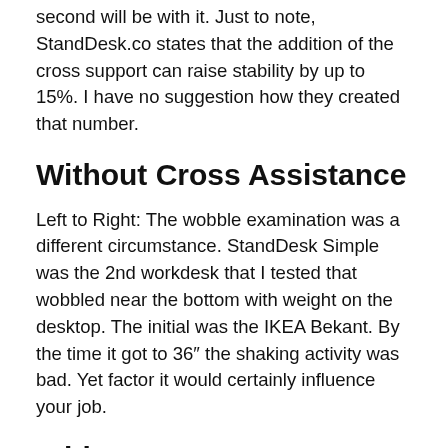second will be with it. Just to note, StandDesk.co states that the addition of the cross support can raise stability by up to 15%. I have no suggestion how they created that number.
Without Cross Assistance
Left to Right: The wobble examination was a different circumstance. StandDesk Simple was the 2nd workdesk that I tested that wobbled near the bottom with weight on the desktop. The initial was the IKEA Bekant. By the time it got to 36″ the shaking activity was bad. Yet factor it would certainly influence your job.
With Cross Support